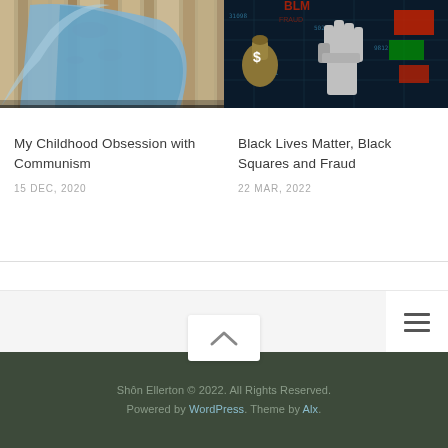[Figure (photo): Photo of what appears to be a blue fabric or umbrella against a wooden wall]
[Figure (photo): Digital illustration of a raised fist with a dollar bag and financial/protest imagery on a dark background]
My Childhood Obsession with Communism
15 DEC, 2020
Black Lives Matter, Black Squares and Fraud
22 MAR, 2022
Shôn Ellerton © 2022. All Rights Reserved. Powered by WordPress. Theme by Alx.